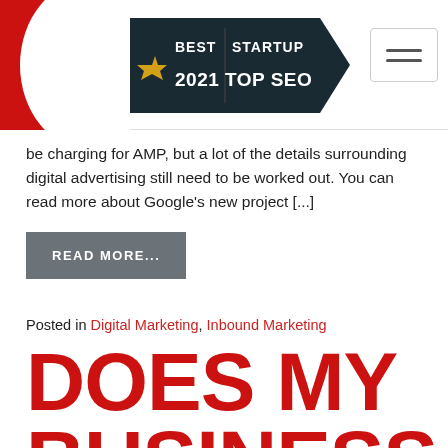Best Startup 2021 Top SEO
be charging for AMP, but a lot of the details surrounding digital advertising still need to be worked out. You can read more about Google's new project [...]
READ MORE...
Posted in Digital Marketing, Inbound Marketing
DOES MY BUSINESS